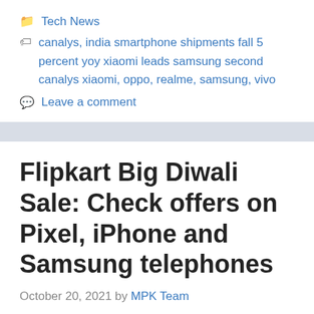Tech News
canalys, india smartphone shipments fall 5 percent yoy xiaomi leads samsung second canalys xiaomi, oppo, realme, samsung, vivo
Leave a comment
Flipkart Big Diwali Sale: Check offers on Pixel, iPhone and Samsung telephones
October 20, 2021 by MPK Team